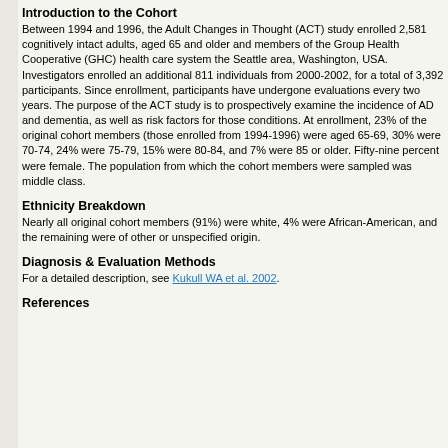Introduction to the Cohort
Between 1994 and 1996, the Adult Changes in Thought (ACT) study enrolled 2,581 cognitively intact adults, aged 65 and older and members of the Group Health Cooperative (GHC) health care system the Seattle area, Washington, USA. Investigators enrolled an additional 811 individuals from 2000-2002, for a total of 3,392 participants. Since enrollment, participants have undergone evaluations every two years. The purpose of the ACT study is to prospectively examine the incidence of AD and dementia, as well as risk factors for those conditions. At enrollment, 23% of the original cohort members (those enrolled from 1994-1996) were aged 65-69, 30% were 70-74, 24% were 75-79, 15% were 80-84, and 7% were 85 or older. Fifty-nine percent were female. The population from which the cohort members were sampled was middle class.
Ethnicity Breakdown
Nearly all original cohort members (91%) were white, 4% were African-American, and the remaining were of other or unspecified origin.
Diagnosis & Evaluation Methods
For a detailed description, see Kukull WA et al. 2002.
References